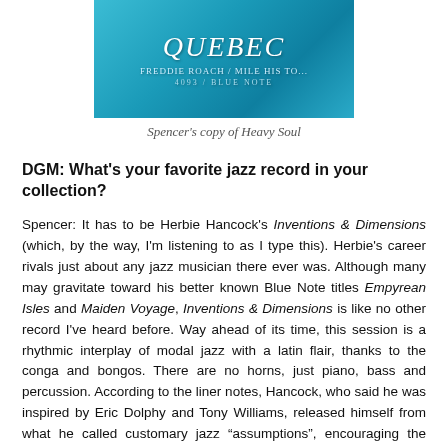[Figure (photo): Album cover of Heavy Soul showing 'QUEBEC' text and Blue Note label number 4093 on a blue background]
Spencer's copy of Heavy Soul
DGM: What's your favorite jazz record in your collection?
Spencer: It has to be Herbie Hancock's Inventions & Dimensions (which, by the way, I'm listening to as I type this). Herbie's career rivals just about any jazz musician there ever was. Although many may gravitate toward his better known Blue Note titles Empyrean Isles and Maiden Voyage, Inventions & Dimensions is like no other record I've heard before. Way ahead of its time, this session is a rhythmic interplay of modal jazz with a latin flair, thanks to the conga and bongos. There are no horns, just piano, bass and percussion. According to the liner notes, Hancock, who said he was inspired by Eric Dolphy and Tony Williams, released himself from what he called customary jazz “assumptions”, encouraging the quartet to improvise spontaneous melodies and chords